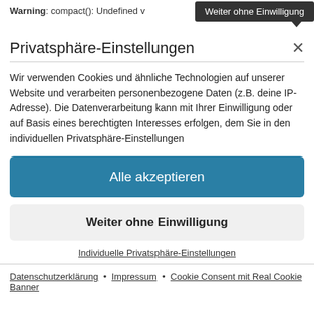Warning: compact(): Undefined v
Weiter ohne Einwilligung
Privatsphäre-Einstellungen
Wir verwenden Cookies und ähnliche Technologien auf unserer Website und verarbeiten personenbezogene Daten (z.B. deine IP-Adresse). Die Datenverarbeitung kann mit Ihrer Einwilligung oder auf Basis eines berechtigten Interesses erfolgen, dem Sie in den individuellen Privatsphäre-Einstellungen
Alle akzeptieren
Weiter ohne Einwilligung
Individuelle Privatsphäre-Einstellungen
Datenschutzerklärung • Impressum • Cookie Consent mit Real Cookie Banner